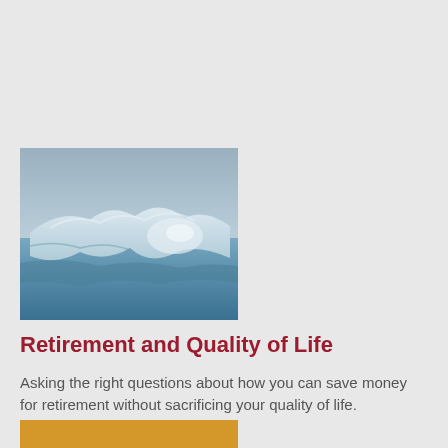[Figure (photo): An abstract photograph of an iceberg or snowy landscape with muted blue and grey tones, showing ice formations above and below a waterline or horizon.]
Retirement and Quality of Life
Asking the right questions about how you can save money for retirement without sacrificing your quality of life.
[Figure (illustration): A solid golden/amber yellow rectangle, partially visible at the bottom of the page.]